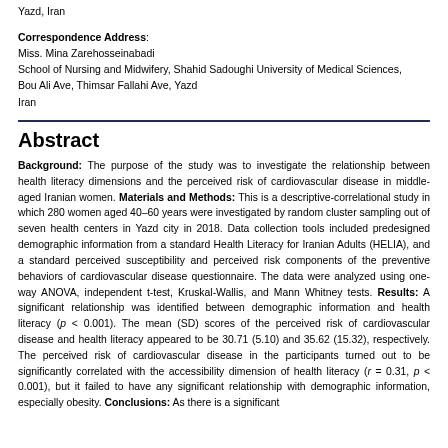Yazd, Iran
Correspondence Address:
Miss. Mina Zarehosseinabadi
School of Nursing and Midwifery, Shahid Sadoughi University of Medical Sciences, Bou Ali Ave, Thimsar Fallahi Ave, Yazd
Iran
Abstract
Background: The purpose of the study was to investigate the relationship between health literacy dimensions and the perceived risk of cardiovascular disease in middle-aged Iranian women. Materials and Methods: This is a descriptive-correlational study in which 280 women aged 40–60 years were investigated by random cluster sampling out of seven health centers in Yazd city in 2018. Data collection tools included predesigned demographic information from a standard Health Literacy for Iranian Adults (HELIA), and a standard perceived susceptibility and perceived risk components of the preventive behaviors of cardiovascular disease questionnaire. The data were analyzed using one-way ANOVA, independent t-test, Kruskal-Wallis, and Mann Whitney tests. Results: A significant relationship was identified between demographic information and health literacy (p < 0.001). The mean (SD) scores of the perceived risk of cardiovascular disease and health literacy appeared to be 30.71 (5.10) and 35.62 (15.32), respectively. The perceived risk of cardiovascular disease in the participants turned out to be significantly correlated with the accessibility dimension of health literacy (r = 0.31, p < 0.001), but it failed to have any significant relationship with demographic information, especially obesity. Conclusions: As there is a significant